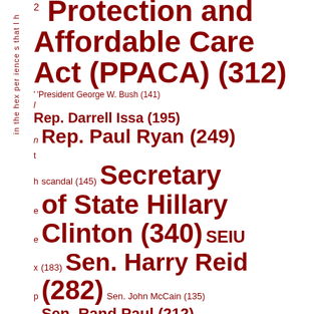[Figure (other): Word cloud with political terms and entities sized by frequency, in dark red on white background. Terms include: Patient Protection and Affordable Care Act (PPACA) (312), President George W. Bush (141), Rep. Darrell Issa (195), Rep. Paul Ryan (249), scandal (145), Secretary of State Hillary Clinton (340), SEIU (183), Sen. Harry Reid (282), Sen. John McCain (135), Sen. Rand Paul (212), Sen. Ted Cruz (188), Shariah Law (169), Speaker John Boehner (209), Syria (207), Twitter (241), tyranny (148), Vice President Joe Biden (149). A vertical sidebar reads 'in the hex per ience s that l h' rotated.]